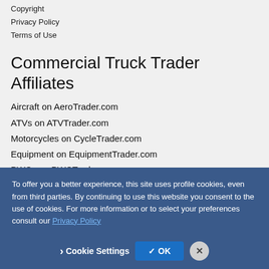Copyright
Privacy Policy
Terms of Use
Commercial Truck Trader Affiliates
Aircraft on AeroTrader.com
ATVs on ATVTrader.com
Motorcycles on CycleTrader.com
Equipment on EquipmentTrader.com
PWCs on PWCTrader.com
RVs on RVTrader.com
Snowmobiles on SnowmobileTrader.com
Trucks on NextTruckOnline...
To offer you a better experience, this site uses profile cookies, even from third parties. By continuing to use this website you consent to the use of cookies. For more information or to select your preferences consult our Privacy Policy
Cookie Settings  ✓ OK  ✕